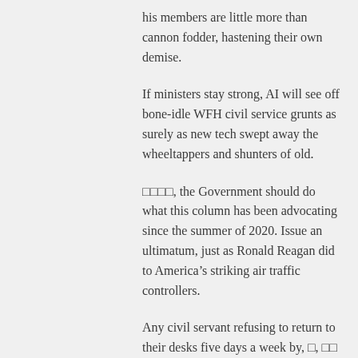his members are little more than cannon fodder, hastening their own demise.
If ministers stay strong, AI will see off bone-idle WFH civil service grunts as surely as new tech swept away the wheeltappers and shunters of old.
, the Government should do what this column has been advocating since the summer of 2020. Issue an ultimatum, just as Ronald Reagan did to America’s striking air traffic controllers.
Any civil servant refusing to return to their desks five days a week by,  ,    1 should be sacked without compensation.
, the unions would wail and gnash their teeth, but the imminent threat of the dole queue in the face of a cost-of-living crisis would certainly concentrate the minds.
In the…